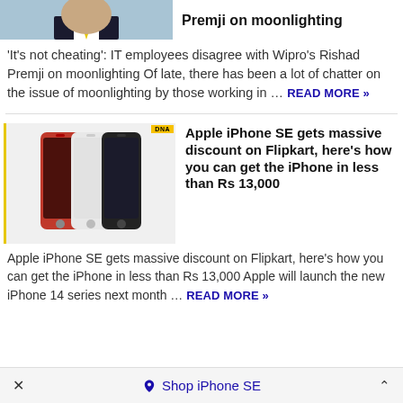[Figure (photo): Partial photo of a man in suit with yellow tie, top of page]
Premji on moonlighting
'It's not cheating': IT employees disagree with Wipro's Rishad Premji on moonlighting Of late, there has been a lot of chatter on the issue of moonlighting by those working in ... READ MORE »
[Figure (photo): Three iPhone SE models in red, white, and black/dark colors, shown side by side with a yellow left border and DNA badge]
Apple iPhone SE gets massive discount on Flipkart, here's how you can get the iPhone in less than Rs 13,000
Apple iPhone SE gets massive discount on Flipkart, here's how you can get the iPhone in less than Rs 13,000 Apple will launch the new iPhone 14 series next month ... READ MORE »
× Shop iPhone SE ^